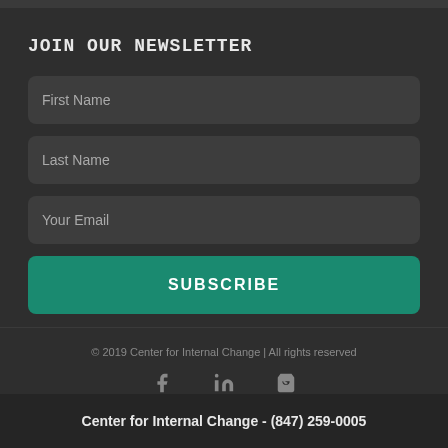JOIN OUR NEWSLETTER
First Name
Last Name
Your Email
SUBSCRIBE
© 2019 Center for Internal Change | All rights reserved
[Figure (other): Social media icons: Facebook, LinkedIn, Shopping Cart]
Center for Internal Change - (847) 259-0005